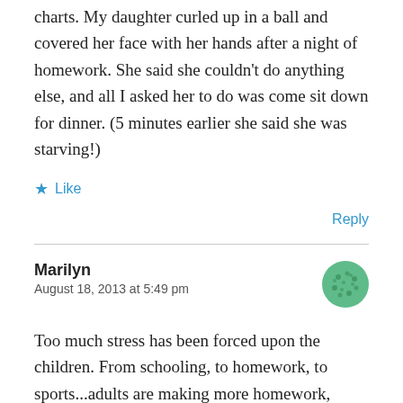charts. My daughter curled up in a ball and covered her face with her hands after a night of homework. She said she couldn't do anything else, and all I asked her to do was come sit down for dinner. (5 minutes earlier she said she was starving!)
★ Like
Reply
Marilyn
August 18, 2013 at 5:49 pm
Too much stress has been forced upon the children. From schooling, to homework, to sports...adults are making more homework, more practices, more games,